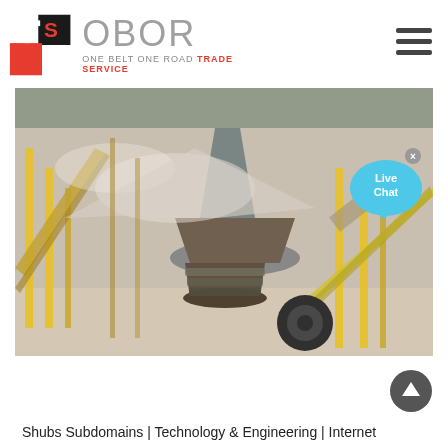[Figure (logo): TS OBOR logo — stylized T and S letters in red and black square, beside grey OBOR text with tagline ONE BELT ONE ROAD TRADE SERVICE]
[Figure (photo): Industrial mining/crushing plant with large cone crusher in center, yellow conveyor belt structures, dust-covered machinery, outdoors]
Shubs Subdomains | Technology & Engineering | Internet